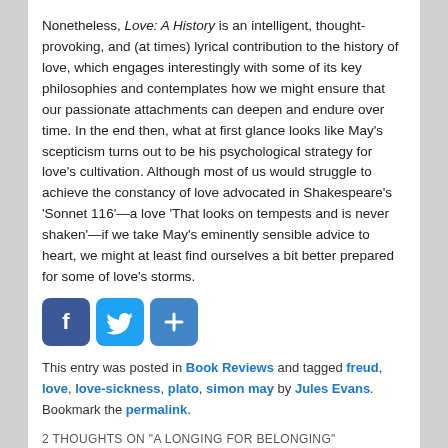Nonetheless, Love: A History is an intelligent, thought-provoking, and (at times) lyrical contribution to the history of love, which engages interestingly with some of its key philosophies and contemplates how we might ensure that our passionate attachments can deepen and endure over time. In the end then, what at first glance looks like May's scepticism turns out to be his psychological strategy for love's cultivation. Although most of us would struggle to achieve the constancy of love advocated in Shakespeare's 'Sonnet 116'—a love 'That looks on tempests and is never shaken'—if we take May's eminently sensible advice to heart, we might at least find ourselves a bit better prepared for some of love's storms.
[Figure (other): Social sharing buttons: Facebook (f), Twitter (bird), and a plus/share button]
This entry was posted in Book Reviews and tagged freud, love, love-sickness, plato, simon may by Jules Evans. Bookmark the permalink.
2 THOUGHTS ON "A LONGING FOR BELONGING"